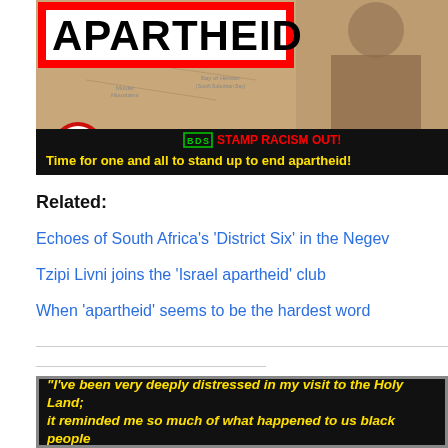[Figure (illustration): Anti-apartheid BDS campaign image with large 'APARTHEID' text in red-bordered white box, map background, figure in background, black banner at bottom reading 'BDS STAMP RACISM OUT!' and 'Time for one and all to stand up to end apartheid!']
Related:
Echoes of South Africa's 'District Six' in the Negev
Tzipi Livni joins the 'Israel apartheid' club
When 'apartheid' seems to be the hardest word
[Figure (illustration): Black background image with yellow text quote: "I've been very deeply distressed in my visit to the Holy Land; it reminded me so much of what happened to us black people"]